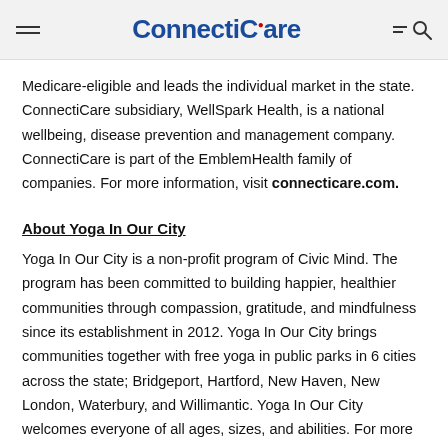ConnectiCare
Medicare-eligible and leads the individual market in the state. ConnectiCare subsidiary, WellSpark Health, is a national wellbeing, disease prevention and management company. ConnectiCare is part of the EmblemHealth family of companies. For more information, visit connecticare.com.
About Yoga In Our City
Yoga In Our City is a non-profit program of Civic Mind. The program has been committed to building happier, healthier communities through compassion, gratitude, and mindfulness since its establishment in 2012. Yoga In Our City brings communities together with free yoga in public parks in 6 cities across the state; Bridgeport, Hartford, New Haven, New London, Waterbury, and Willimantic. Yoga In Our City welcomes everyone of all ages, sizes, and abilities. For more information visit,